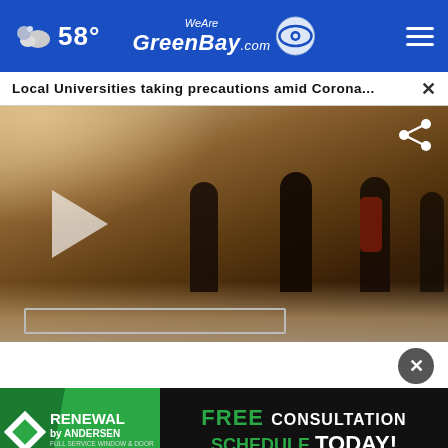58° WeAreGreenBay.com
Local Universities taking precautions amid Corona... ×
[Figure (photo): Video still showing university students walking on a snowy campus path in winter, with a play button overlay and share icon]
[Figure (photo): Advertisement banner for Renewal by Andersen windows and door replacement: FREE CONSULTATION SCHEDULE TODAY!]